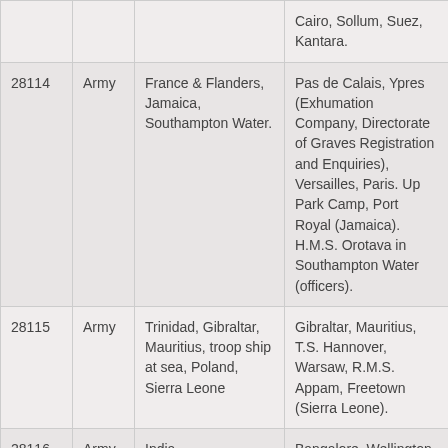|  |  |  | Cairo, Sollum, Suez, Kantara. |
| 28114 | Army | France & Flanders, Jamaica, Southampton Water. | Pas de Calais, Ypres (Exhumation Company, Directorate of Graves Registration and Enquiries), Versailles, Paris. Up Park Camp, Port Royal (Jamaica). H.M.S. Orotava in Southampton Water (officers). |
| 28115 | Army | Trinidad, Gibraltar, Mauritius, troop ship at sea, Poland, Sierra Leone | Gibraltar, Mauritius, T.S. Hannover, Warsaw, R.M.S. Appam, Freetown (Sierra Leone). |
| 28116 | Army | India | Bangalore, Wellington, Fort St George, Poona, Belgaum, Ahmednagar, Trimulgherry. |
| 28117 | Army | India | Roorkee, Muttra, Meerut, Agra, Lucknow, Cawnpore, Naini Tal, Ranikhet, Bareilly, Mussoorie, Delhi, Fyzabad. |
| 28118 | Army | India | Kamptee, Nowgong, Mhow, Jubbulpore, Ghorpuri, Kirkee, Jhansi, Nagpur, Poona, Colaba |